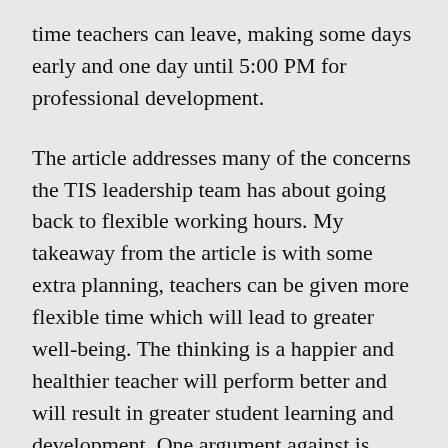time teachers can leave, making some days early and one day until 5:00 PM for professional development.
The article addresses many of the concerns the TIS leadership team has about going back to flexible working hours. My takeaway from the article is with some extra planning, teachers can be given more flexible time which will lead to greater well-being. The thinking is a happier and healthier teacher will perform better and will result in greater student learning and development. One argument against is secondary school